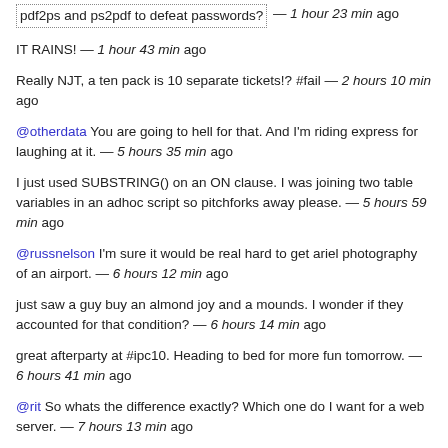pdf2ps and ps2pdf to defeat passwords? — 1 hour 23 min ago
IT RAINS! — 1 hour 43 min ago
Really NJT, a ten pack is 10 separate tickets!? #fail — 2 hours 10 min ago
@otherdata You are going to hell for that. And I'm riding express for laughing at it. — 5 hours 35 min ago
I just used SUBSTRING() on an ON clause. I was joining two table variables in an adhoc script so pitchforks away please. — 5 hours 59 min ago
@russnelson I'm sure it would be real hard to get ariel photography of an airport. — 6 hours 12 min ago
just saw a guy buy an almond joy and a mounds. I wonder if they accounted for that condition? — 6 hours 14 min ago
great afterparty at #ipc10. Heading to bed for more fun tomorrow. — 6 hours 41 min ago
@rit So whats the difference exactly? Which one do I want for a web server. — 7 hours 13 min ago